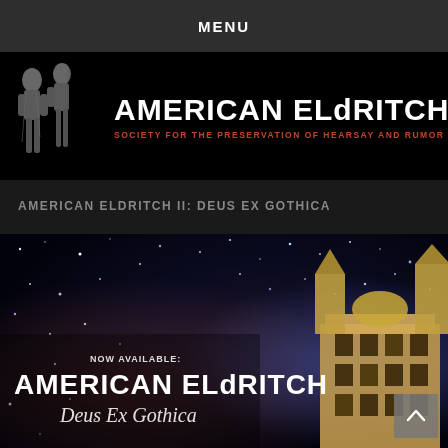MENU
[Figure (logo): American Eldritch logo banner: classical statues on left, large white text 'AMERICAN ELdRITCH' with red subtitle 'SOCIETY FOR THE PRESERVATION OF HEARSAY AND RUMOR' on black background]
AMERICAN ELDRITCH II: DEUS EX GOTHICA
[Figure (photo): Book/product cover image: cosmic nebula background with a gothic building/structure floating in space, text 'NOW AVAILABLE: AMERICAN ELdRITCH Deus Ex Gothica']